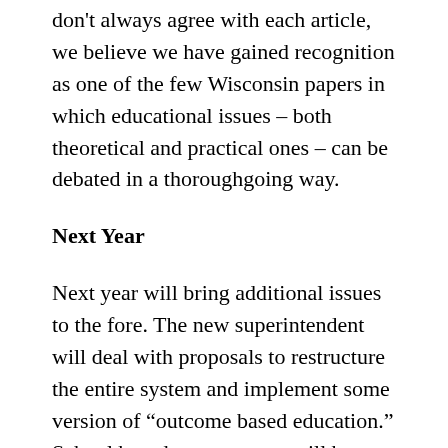don't always agree with each article, we believe we have gained recognition as one of the few Wisconsin papers in which educational issues – both theoretical and practical ones – can be debated in a thoroughgoing way.
Next Year
Next year will bring additional issues to the fore. The new superintendent will deal with proposals to restructure the entire system and implement some version of “outcome based education.” School based management will be put to some real tests at Fratney and